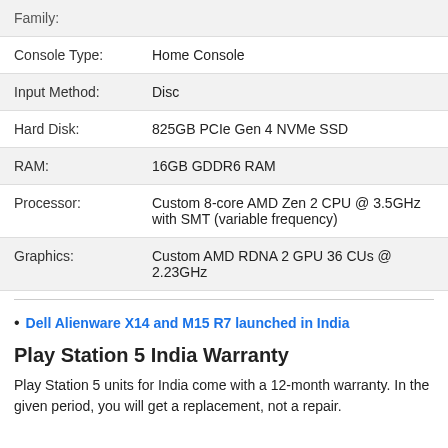| Property | Value |
| --- | --- |
| Family: |  |
| Console Type: | Home Console |
| Input Method: | Disc |
| Hard Disk: | 825GB PCIe Gen 4 NVMe SSD |
| RAM: | 16GB GDDR6 RAM |
| Processor: | Custom 8-core AMD Zen 2 CPU @ 3.5GHz with SMT (variable frequency) |
| Graphics: | Custom AMD RDNA 2 GPU 36 CUs @ 2.23GHz |
Dell Alienware X14 and M15 R7 launched in India
Play Station 5 India Warranty
Play Station 5 units for India come with a 12-month warranty. In the given period, you will get a replacement, not a repair.